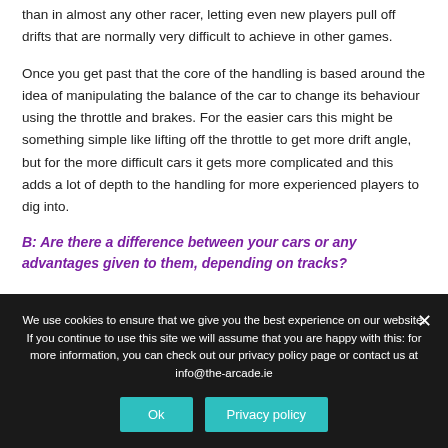than in almost any other racer, letting even new players pull off drifts that are normally very difficult to achieve in other games.
Once you get past that the core of the handling is based around the idea of manipulating the balance of the car to change its behaviour using the throttle and brakes. For the easier cars this might be something simple like lifting off the throttle to get more drift angle, but for the more difficult cars it gets more complicated and this adds a lot of depth to the handling for more experienced players to dig into.
B: Are there a difference between your cars or any advantages given to them, depending on tracks?
We use cookies to ensure that we give you the best experience on our website. If you continue to use this site we will assume that you are happy with this: for more information, you can check out our privacy policy page or contact us at info@the-arcade.ie